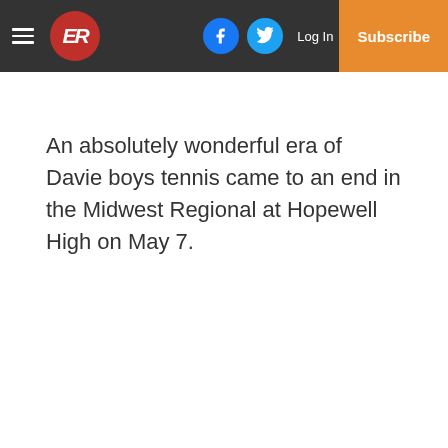ER | Log In | Subscribe
An absolutely wonderful era of Davie boys tennis came to an end in the Midwest Regional at Hopewell High on May 7.